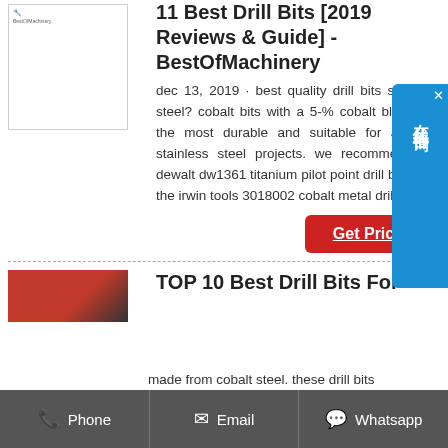11 Best Drill Bits [2019 Reviews & Guide] - BestOfMachinery
dec 13, 2019 · best quality drill bits stainless steel? cobalt bits with a 5-% cobalt blend are the most durable and suitable for all your stainless steel projects. we recommend the dewalt dw1361 titanium pilot point drill bit set or the irwin tools 3018002 cobalt metal drill bit set.
[Figure (screenshot): Thumbnail image showing a white box with a small logo in the top-left corner]
Get Prices
TOP 10 Best Drill Bits For
made from cobalt steel. these drill bits
[Figure (screenshot): Partial red/dark thumbnail image for the second article]
Phone
Email
Whatsapp